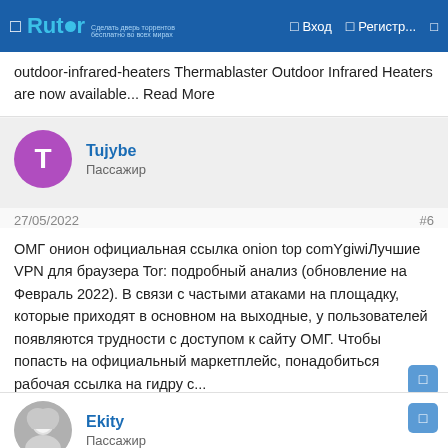Rutor — Вход — Регистр...
outdoor-infrared-heaters Thermablaster Outdoor Infrared Heaters are now available... Read More
Tujybe
Пассажир
27/05/2022	#6
ОМГ онион официальная ссылка onion top comYgiwiЛучшие VPN для браузера Tor: подробный анализ (обновление на Февраль 2022). В связи с частыми атаками на площадку, которые приходят в основном на выходные, у пользователей появляются трудности с доступом к сайту ОМГ. Чтобы попасть на официальный маркетплейс, понадобиться рабочая ссылка на гидру с...
Ekity
Пассажир